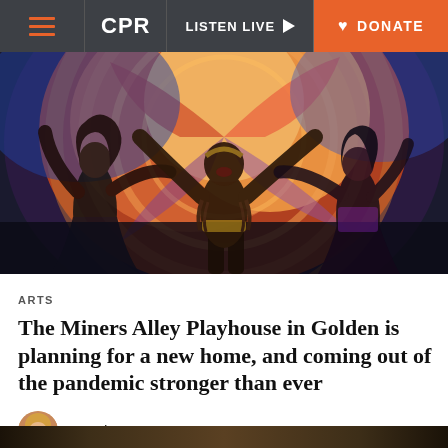CPR | LISTEN LIVE | DONATE
[Figure (photo): Stage performance photo showing a central performer with arms raised wide, wearing a colorful costume, surrounded by other performers against a vibrant circular psychedelic backdrop with swirling colors of orange, red, blue, and yellow.]
ARTS
The Miners Alley Playhouse in Golden is planning for a new home, and coming out of the pandemic stronger than ever
By Eden Lane